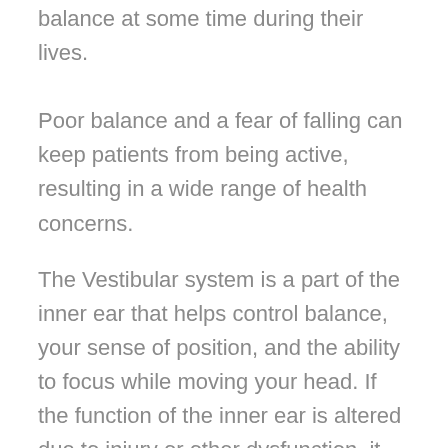balance at some time during their lives. Poor balance and a fear of falling can keep patients from being active, resulting in a wide range of health concerns.
The Vestibular system is a part of the inner ear that helps control balance, your sense of position, and the ability to focus while moving your head. If the function of the inner ear is altered due to injury or other dysfunction, it can affect your ability to balance, walk, and focus.
What is vestibular therapy?